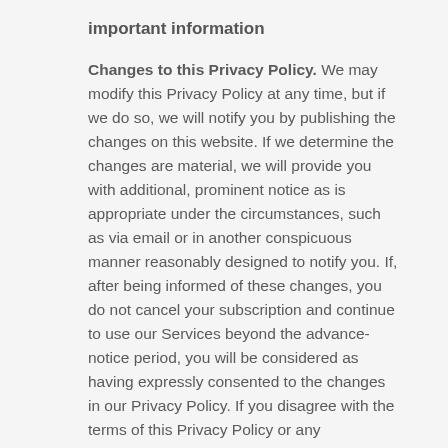important information
Changes to this Privacy Policy. We may modify this Privacy Policy at any time, but if we do so, we will notify you by publishing the changes on this website. If we determine the changes are material, we will provide you with additional, prominent notice as is appropriate under the circumstances, such as via email or in another conspicuous manner reasonably designed to notify you. If, after being informed of these changes, you do not cancel your subscription and continue to use our Services beyond the advance-notice period, you will be considered as having expressly consented to the changes in our Privacy Policy. If you disagree with the terms of this Privacy Policy or any